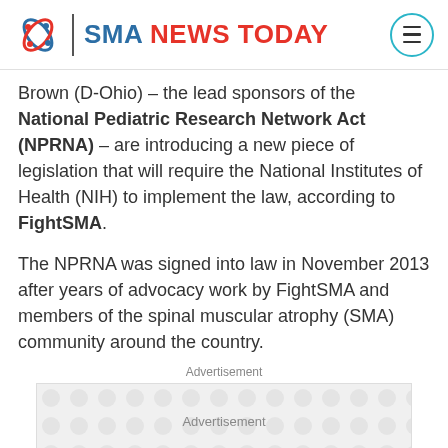SMA NEWS TODAY
Brown (D-Ohio) – the lead sponsors of the National Pediatric Research Network Act (NPRNA) – are introducing a new piece of legislation that will require the National Institutes of Health (NIH) to implement the law, according to FightSMA.
The NPRNA was signed into law in November 2013 after years of advocacy work by FightSMA and members of the spinal muscular atrophy (SMA) community around the country.
Advertisement
[Figure (other): Advertisement placeholder boxes with dot pattern background]